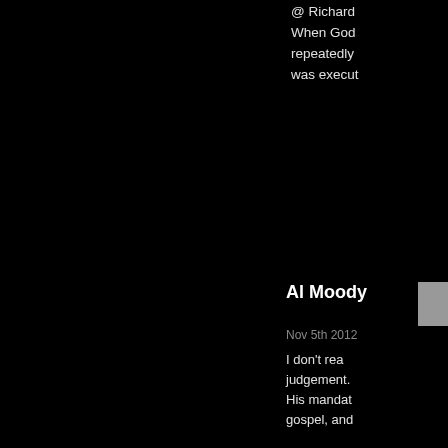@ Richard
When God
repeatedly
was execut
Al Moody
Nov 5th 2012
I don't rea
judgement.
His manda
gospel, and
Richard Savage
Nov 5th 2012
Zookeeper
to you.
If we say th